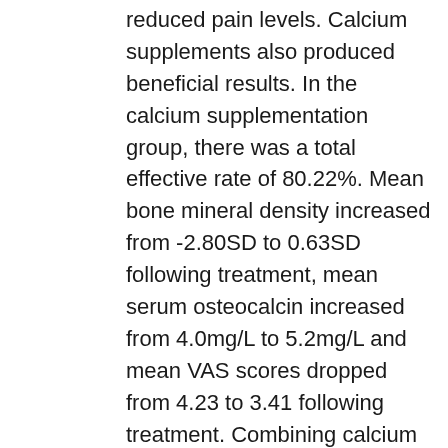reduced pain levels.  Calcium supplements also produced beneficial results. In the calcium supplementation group, there was a total effective rate of 80.22%. Mean bone mineral density increased from -2.80SD to 0.63SD following treatment, mean serum osteocalcin increased from 4.0mg/L to 5.2mg/L and mean VAS scores dropped from 4.23 to 3.41 following treatment.  Combining calcium supplementation with acupuncture treatment may produce increased benefits for those with osteoporosis.
In practice, acupuncturists will often recommend treatment with dietary therapy and Chinese herbal medicine for patients with osteoporosis.  Our experience is that